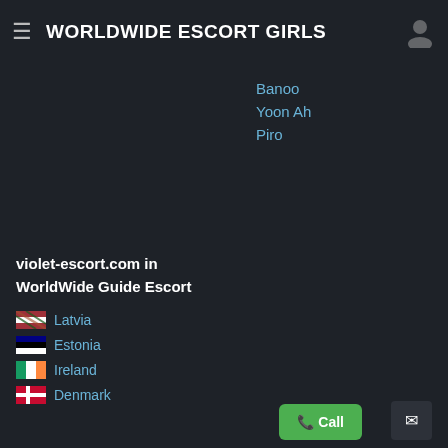WORLDWIDE ESCORT GIRLS
Banoo
Yoon Ah
Piro
violet-escort.com in WorldWide Guide Escort
Latvia
Estonia
Ireland
Denmark
Popular tags
#arthritis_sex
#desi_panties
#wrestleing_toys
#videa_porn
#Handjob_Aast
#plotting_group
#adult_immunisation
#ducati_porn
#girl_latina
#blood_nude
#France_nude_excersises
#slut_queen
#sham...